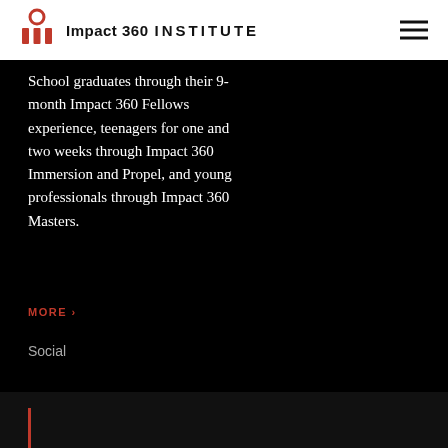Impact 360 INSTITUTE
School graduates through their 9-month Impact 360 Fellows experience, teenagers for one and two weeks through Impact 360 Immersion and Propel, and young professionals through Impact 360 Masters.
MORE >
Social